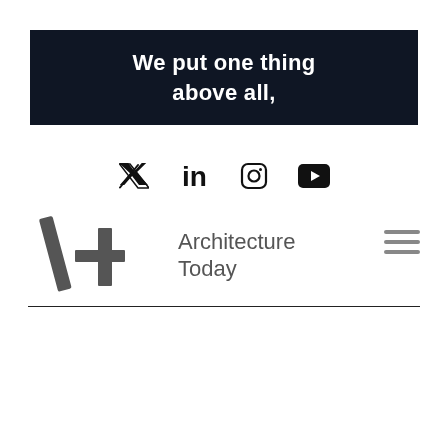We put one thing above all,
[Figure (logo): Social media icons: Twitter, LinkedIn, Instagram, YouTube]
[Figure (logo): Architecture Today logo with AT monogram and wordmark]